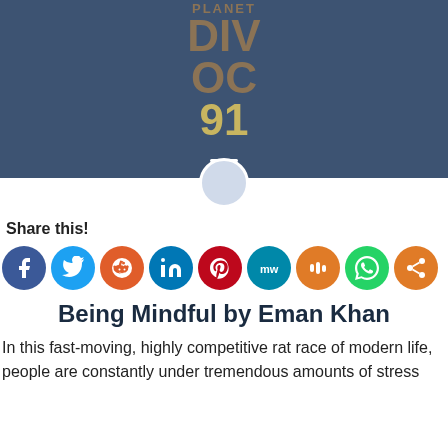[Figure (logo): Planet Divoc 91 logo with stylized bold text on dark blue background with hamburger menu icon]
[Figure (photo): Small circular avatar/profile photo placeholder]
Share this!
[Figure (infographic): Row of social media share buttons: Facebook, Twitter, Reddit, LinkedIn, Pinterest, MeWe, Mix, WhatsApp, Share]
Being Mindful by Eman Khan
In this fast-moving, highly competitive rat race of modern life, people are constantly under tremendous amounts of stress